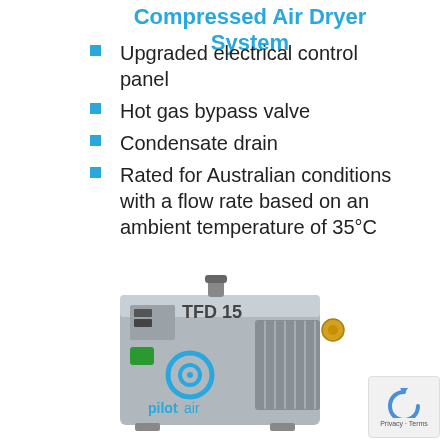Compressed Air Dryer System
Upgraded electrical control panel
Hot gas bypass valve
Condensate drain
Rated for Australian conditions with a flow rate based on an ambient temperature of 35°C
[Figure (photo): Pilotair TFD 15 compressed air dryer unit, a grey metal box with ventilation grille, green power switch, gauges, and Pilotair logo in blue on the front panel]